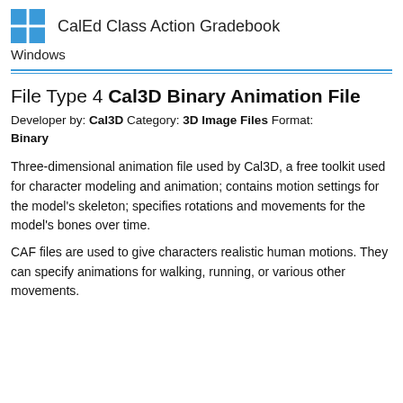CalEd Class Action Gradebook
Windows
File Type 4 Cal3D Binary Animation File
Developer by: Cal3D Category: 3D Image Files Format: Binary
Three-dimensional animation file used by Cal3D, a free toolkit used for character modeling and animation; contains motion settings for the model's skeleton; specifies rotations and movements for the model's bones over time.
CAF files are used to give characters realistic human motions. They can specify animations for walking, running, or various other movements.